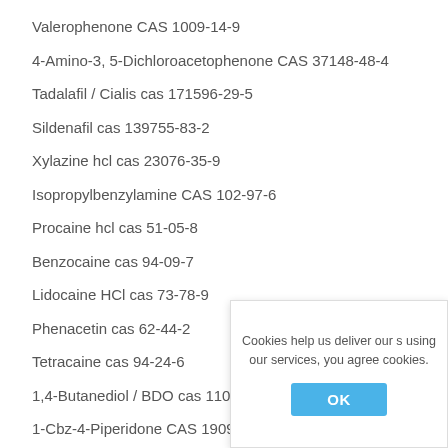Valerophenone CAS 1009-14-9
4-Amino-3, 5-Dichloroacetophenone CAS 37148-48-4
Tadalafil / Cialis cas 171596-29-5
Sildenafil cas 139755-83-2
Xylazine hcl cas 23076-35-9
Isopropylbenzylamine CAS 102-97-6
Procaine hcl cas 51-05-8
Benzocaine cas 94-09-7
Lidocaine HCl cas 73-78-9
Phenacetin cas 62-44-2
Tetracaine cas 94-24-6
1,4-Butanediol / BDO cas 110-63-
1-Cbz-4-Piperidone CAS 19099-
1-Boc-4-Piperidone CAS 79099-
Cookies help us deliver our s using our services, you agree cookies.